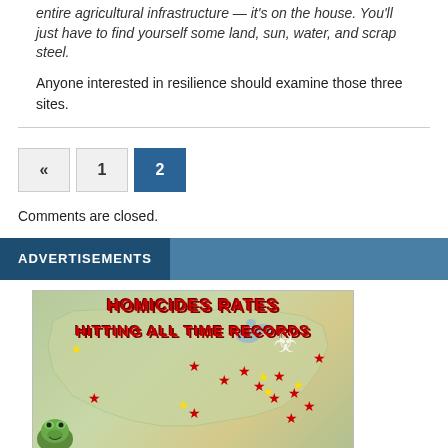entire agricultural infrastructure — it's on the house. You'll just have to find yourself some land, sun, water, and scrap steel.
Anyone interested in resilience should examine those three sites.
[Figure (other): Pagination buttons: double left arrow, 1, 2 (active/selected in dark blue)]
Comments are closed.
ADVERTISEMENTS
[Figure (map): A map of the United States with the title 'HOMICIDES RATES HITTING ALL TIME RECORDS' in red dripping text. Red and yellow stars are plotted across the map indicating homicide hotspots. A biohazard symbol and a cartoon frog figure appear in the lower left corner.]